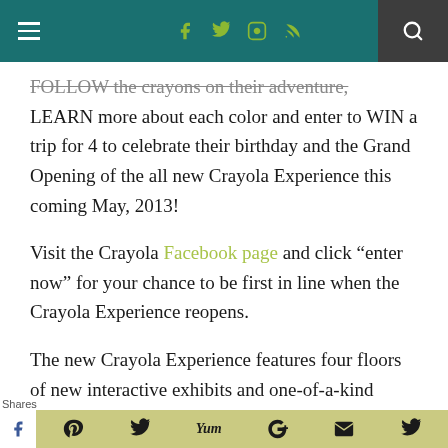Navigation bar with hamburger menu, social icons (Facebook, Twitter, Instagram, RSS), and search
FOLLOW the crayons on their adventure, LEARN more about each color and enter to WIN a trip for 4 to celebrate their birthday and the Grand Opening of the all new Crayola Experience this coming May, 2013!
Visit the Crayola Facebook page and click “enter now” for your chance to be first in line when the Crayola Experience reopens.
The new Crayola Experience features four floors of new interactive exhibits and one-of-a-kind attractions that will bring the magic of color and your child’s creativity to life! The winner will be among the first to experience the fun, along with a three- night, all-expenses
Shares | Facebook | Pinterest | Twitter | Yummly | Google+ | Email | Twitter